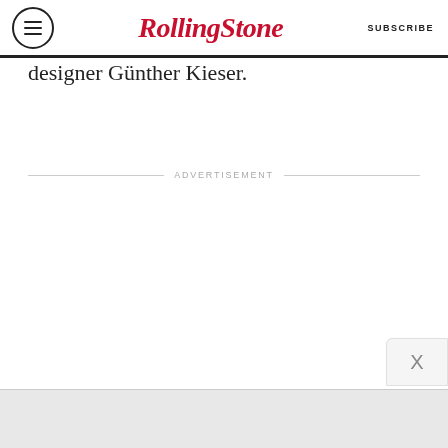Rolling Stone | SUBSCRIBE
designer Günther Kieser.
ADVERTISEMENT